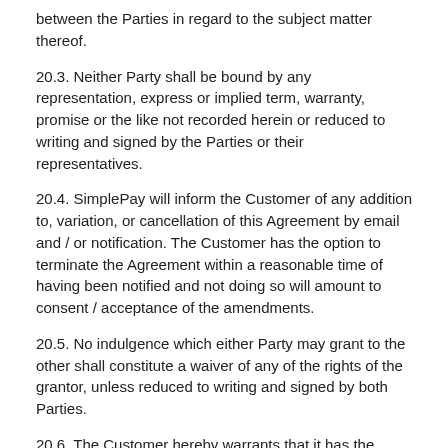between the Parties in regard to the subject matter thereof.
20.3. Neither Party shall be bound by any representation, express or implied term, warranty, promise or the like not recorded herein or reduced to writing and signed by the Parties or their representatives.
20.4. SimplePay will inform the Customer of any addition to, variation, or cancellation of this Agreement by email and / or notification. The Customer has the option to terminate the Agreement within a reasonable time of having been notified and not doing so will amount to consent / acceptance of the amendments.
20.5. No indulgence which either Party may grant to the other shall constitute a waiver of any of the rights of the grantor, unless reduced to writing and signed by both Parties.
20.6. The Customer hereby warrants that it has the capacity to and is authorised to conclude this Agreement, and that upon acceptance this Agreement will, and will continue to, bind it in all respects.
20.7. Full contact details:
20.7.1. Full name and location of website